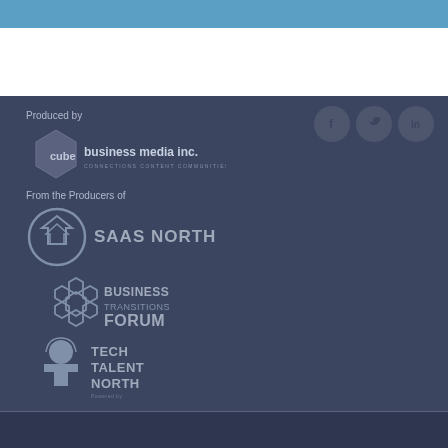[Figure (illustration): Blue header bar at top of page]
Produced by
[Figure (logo): Cube Business Media Inc. logo - hexagon shape with 'cube business media inc.' text and tagline 'CONNECTIONS CONTENT COMMUNITIES']
From the Producers of
[Figure (logo): SAAS NORTH logo - circular badge with arrow/chevron design and text 'SAAS NORTH']
[Figure (logo): BUSINESS TRANSITIONS FORUM logo - hexagonal honeycomb icon with text 'BUSINESS TRANSITIONS FORUM']
[Figure (logo): TECH TALENT NORTH logo - silhouette figure with afro and 'TECH TALENT NORTH' text]
[Figure (illustration): Three social media icons (Facebook, Twitter, LinkedIn) as circular grey buttons]